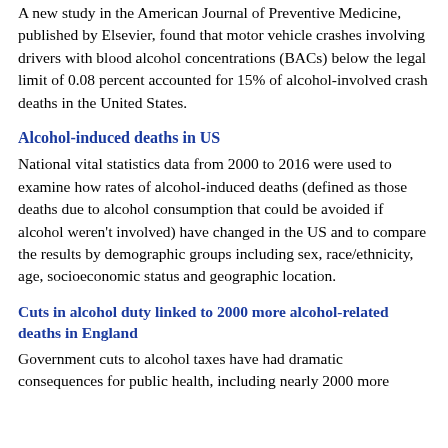A new study in the American Journal of Preventive Medicine, published by Elsevier, found that motor vehicle crashes involving drivers with blood alcohol concentrations (BACs) below the legal limit of 0.08 percent accounted for 15% of alcohol-involved crash deaths in the United States.
Alcohol-induced deaths in US
National vital statistics data from 2000 to 2016 were used to examine how rates of alcohol-induced deaths (defined as those deaths due to alcohol consumption that could be avoided if alcohol weren't involved) have changed in the US and to compare the results by demographic groups including sex, race/ethnicity, age, socioeconomic status and geographic location.
Cuts in alcohol duty linked to 2000 more alcohol-related deaths in England
Government cuts to alcohol taxes have had dramatic consequences for public health, including nearly 2000 more